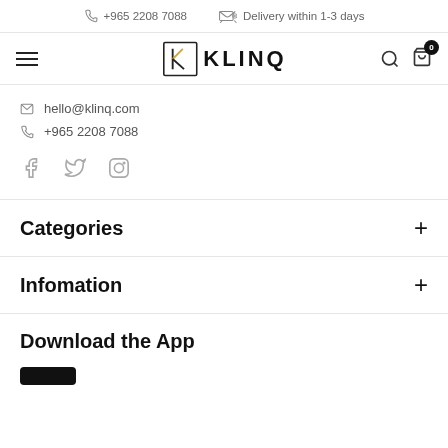+965 2208 7088   Delivery within 1-3 days
[Figure (logo): KLINQ brand logo with stylized K icon and hamburger menu, search, cart icons]
hello@klinq.com
+965 2208 7088
[Figure (illustration): Social media icons: Facebook, Twitter, Instagram]
Categories
Infomation
Download the App